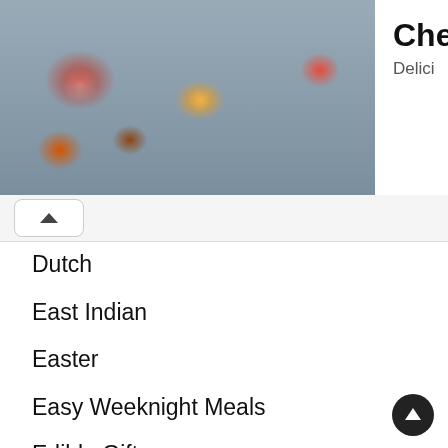[Figure (photo): Advertisement banner showing cheesecakes in jars with food photography, titled Cheesecakes from Delici with a See More button]
Dutch
East Indian
Easter
Easy Weeknight Meals
Edible Gifts
Eggs
Fall